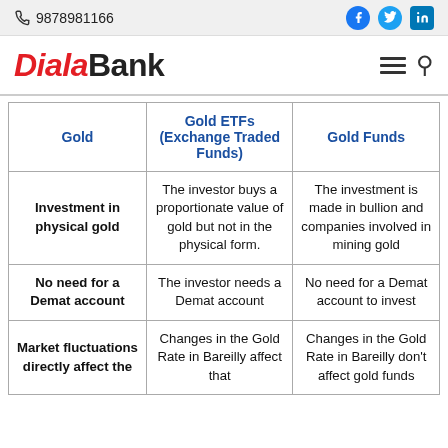📞 9878981166  [Facebook] [Twitter] [LinkedIn]
DialaBank
| Gold | Gold ETFs (Exchange Traded Funds) | Gold Funds |
| --- | --- | --- |
| Investment in physical gold | The investor buys a proportionate value of gold but not in the physical form. | The investment is made in bullion and companies involved in mining gold |
| No need for a Demat account | The investor needs a Demat account | No need for a Demat account to invest |
| Market fluctuations directly affect the | Changes in the Gold Rate in Bareilly affect that | Changes in the Gold Rate in Bareilly don't affect gold funds |